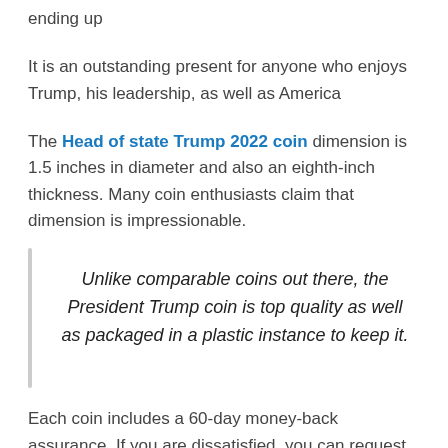ending up
It is an outstanding present for anyone who enjoys Trump, his leadership, as well as America
The Head of state Trump 2022 coin dimension is 1.5 inches in diameter and also an eighth-inch thickness. Many coin enthusiasts claim that dimension is impressionable.
Unlike comparable coins out there, the President Trump coin is top quality as well as packaged in a plastic instance to keep it.
Each coin includes a 60-day money-back assurance. If you are dissatisfied, you can request a reimbursement within 60 days of